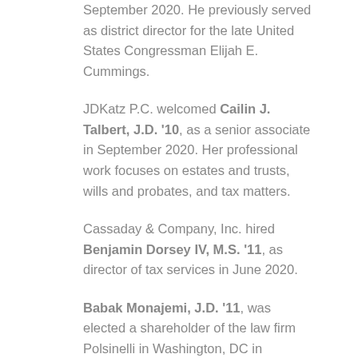September 2020. He previously served as district director for the late United States Congressman Elijah E. Cummings.
JDKatz P.C. welcomed Cailin J. Talbert, J.D. '10, as a senior associate in September 2020. Her professional work focuses on estates and trusts, wills and probates, and tax matters.
Cassaday & Company, Inc. hired Benjamin Dorsey IV, M.S. '11, as director of tax services in June 2020.
Babak Monajemi, J.D. '11, was elected a shareholder of the law firm Polsinelli in Washington, DC in November 2020.
Heather Young Scheicher, B.S. '11, and her husband Dean, welcomed a daughter in September